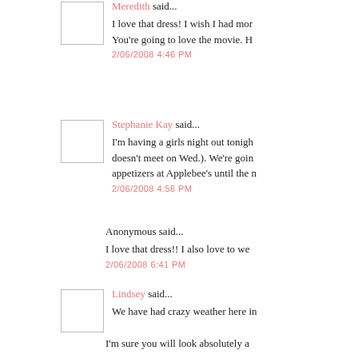Meredith said...
I love that dress! I wish I had mor
You're going to love the movie. H
2/06/2008 4:46 PM
Stephanie Kay said...
I'm having a girls night out tonigh
doesn't meet on Wed.). We're goin
appetizers at Applebee's until the n
2/06/2008 4:56 PM
Anonymous said...
I love that dress!! I also love to we
2/06/2008 6:41 PM
Lindsey said...
We have had crazy weather here in
I'm sure you will look absolutely a